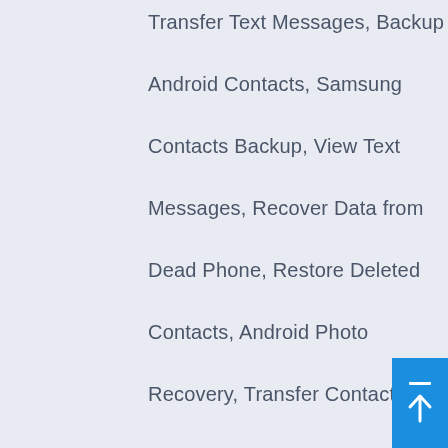Transfer Text Messages, Backup Android Contacts, Samsung Contacts Backup, View Text Messages, Recover Data from Dead Phone, Restore Deleted Contacts, Android Photo Recovery, Transfer Contacts from Android to iPhone, Samsung to Huawei, Transfer Messages from iPhone to PC, Transfer Music from iPhone to Computer, Recover Deleted iPhone Messages, Restore iPhone